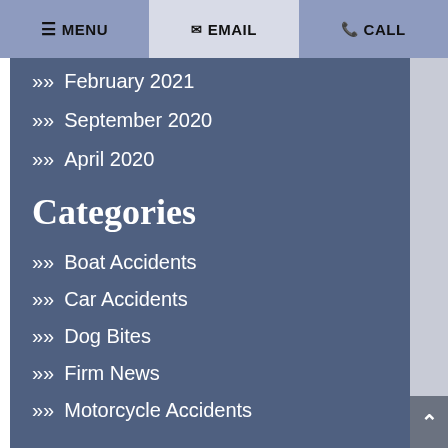MENU  EMAIL  CALL
February 2021
September 2020
April 2020
Categories
Boat Accidents
Car Accidents
Dog Bites
Firm News
Motorcycle Accidents